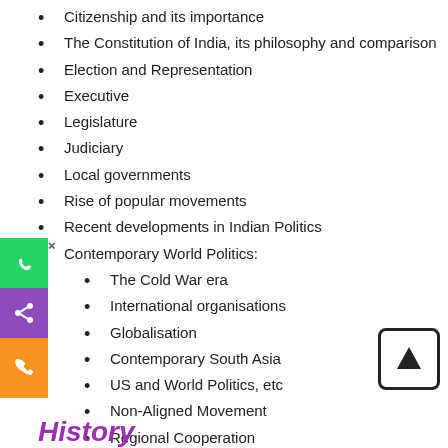Citizenship and its importance
The Constitution of India, its philosophy and comparison
Election and Representation
Executive
Legislature
Judiciary
Local governments
Rise of popular movements
Recent developments in Indian Politics
Contemporary World Politics:
The Cold War era
International organisations
Globalisation
Contemporary South Asia
US and World Politics, etc
Non-Aligned Movement
Regional Cooperation
History